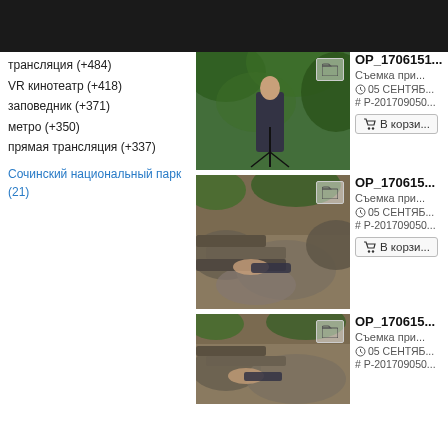трансляция (+484)
VR кинотеатр (+418)
заповедник (+371)
метро (+350)
прямая трансляция (+337)
Сочинский национальный парк (21)
[Figure (photo): Person standing in forest with camera on tripod, surrounded by green foliage]
OP_1706151...
Съемка при...
05 СЕНТЯБ...
# P-201709050...
В корзи...
[Figure (photo): Person lying on rocky steps/stream in a forested area]
OP_170615...
Съемка при...
05 СЕНТЯБ...
# P-201709050...
В корзи...
[Figure (photo): Person on rocky steps/stream in forested area, partially visible]
OP_170615...
Съемка при...
05 СЕНТЯБ...
# P-201709050...